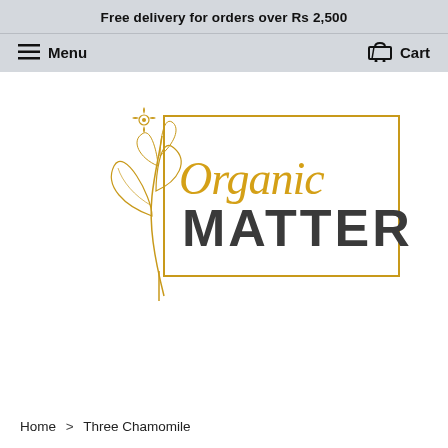Free delivery for orders over Rs 2,500
Menu   Cart
[Figure (logo): Organic Matters logo with golden botanical illustration (plant with leaves and flower) on the left, cursive gold 'Organic' text above bold dark grey 'MATTERS' text, enclosed in a gold rectangular border]
Home > Three Chamomile